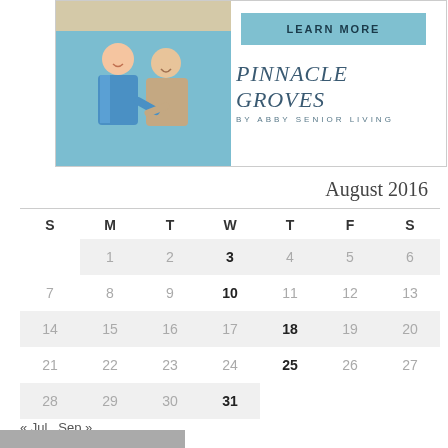[Figure (illustration): Advertisement for Pinnacle Groves by Abby Senior Living showing a nurse and elderly woman laughing together, with a 'Learn More' button and the Pinnacle Groves logo.]
August 2016
| S | M | T | W | T | F | S |
| --- | --- | --- | --- | --- | --- | --- |
|  | 1 | 2 | 3 | 4 | 5 | 6 |
| 7 | 8 | 9 | 10 | 11 | 12 | 13 |
| 14 | 15 | 16 | 17 | 18 | 19 | 20 |
| 21 | 22 | 23 | 24 | 25 | 26 | 27 |
| 28 | 29 | 30 | 31 |  |  |  |
« Jul  Sep »